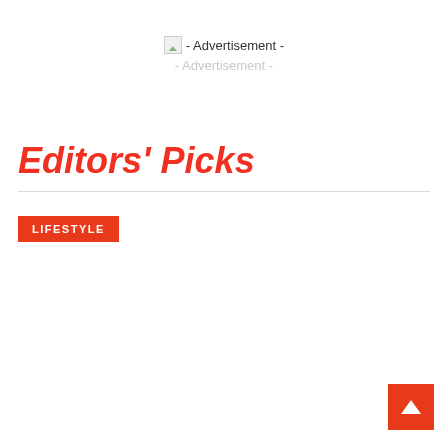- Advertisement -
- Advertisement -
Editors' Picks
LIFESTYLE